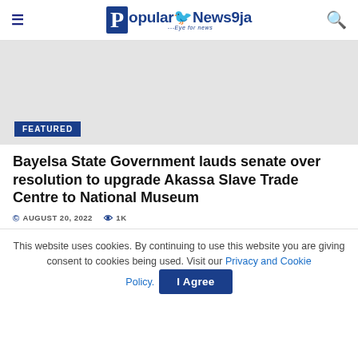Popular News9ja ---Eye for news
[Figure (photo): Featured article image placeholder with light grey background and FEATURED badge in dark blue]
Bayelsa State Government lauds senate over resolution to upgrade Akassa Slave Trade Centre to National Museum
AUGUST 20, 2022  1K
This website uses cookies. By continuing to use this website you are giving consent to cookies being used. Visit our Privacy and Cookie Policy.
I Agree